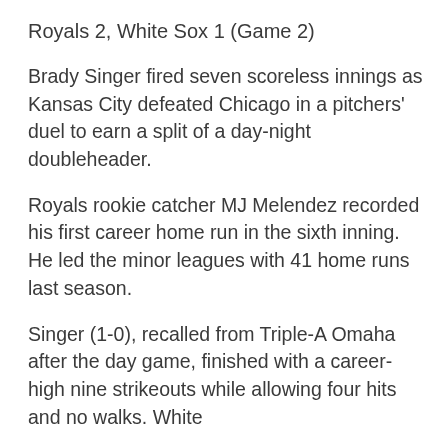Royals 2, White Sox 1 (Game 2)
Brady Singer fired seven scoreless innings as Kansas City defeated Chicago in a pitchers' duel to earn a split of a day-night doubleheader.
Royals rookie catcher MJ Melendez recorded his first career home run in the sixth inning. He led the minor leagues with 41 home runs last season.
Singer (1-0), recalled from Triple-A Omaha after the day game, finished with a career-high nine strikeouts while allowing four hits and no walks. White